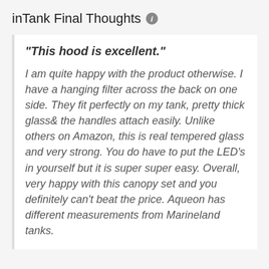inTank Final Thoughts
"This hood is excellent."
I am quite happy with the product otherwise. I have a hanging filter across the back on one side. They fit perfectly on my tank, pretty thick glass& the handles attach easily. Unlike others on Amazon, this is real tempered glass and very strong. You do have to put the LED's in yourself but it is super super easy. Overall, very happy with this canopy set and you definitely can't beat the price. Aqueon has different measurements from Marineland tanks.